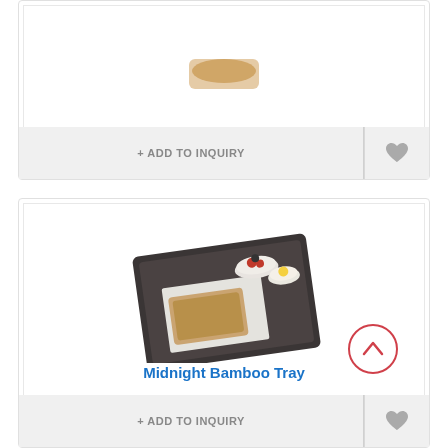Bread Displays
+ ADD TO INQUIRY
[Figure (photo): Dark bamboo rectangular serving tray with food items including bowls of fruit and a piece of toast on a white napkin]
Midnight Bamboo Tray
+ ADD TO INQUIRY